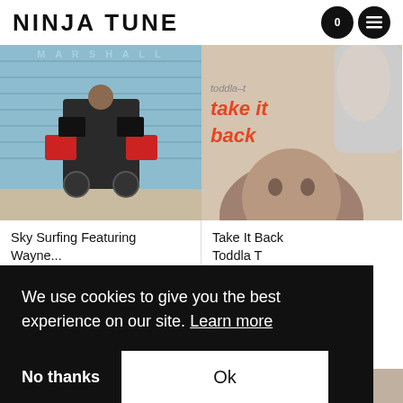NINJA TUNE
[Figure (photo): Album art for Sky Surfing by Toddla T — person on a bicycle loaded with speakers, against a blue brick wall, text MARSHALL at top]
[Figure (photo): Album art for Take It Back by Toddla T — text 'toddla-t take it back' in red/orange, woman's face in sepia tones]
Sky Surfing Featuring Wayne...
Toddla T
Take It Back
Toddla T
We use cookies to give you the best experience on our site. Learn more
No thanks
Ok